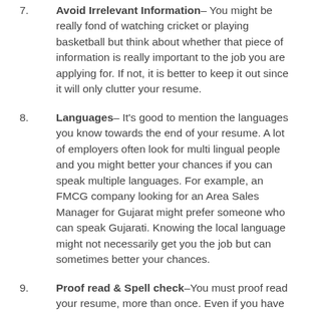7. Avoid Irrelevant Information– You might be really fond of watching cricket or playing basketball but think about whether that piece of information is really important to the job you are applying for. If not, it is better to keep it out since it will only clutter your resume.
8. Languages– It's good to mention the languages you know towards the end of your resume. A lot of employers often look for multi lingual people and you might better your chances if you can speak multiple languages. For example, an FMCG company looking for an Area Sales Manager for Gujarat might prefer someone who can speak Gujarati. Knowing the local language might not necessarily get you the job but can sometimes better your chances.
9. Proof read & Spell check–You must proof read your resume, more than once. Even if you have used a spell check tool on the computer, make sure you do a thorough spell check manually too. A resume with spelling errors can